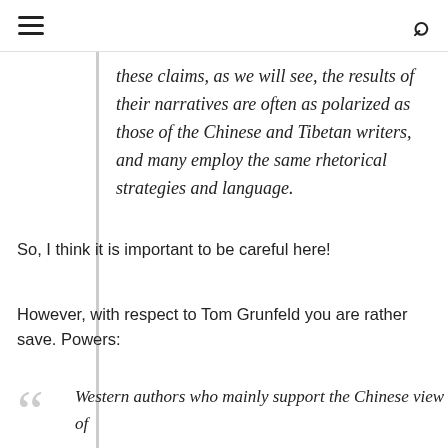[hamburger menu] [search icon]
these claims, as we will see, the results of their narratives are often as polarized as those of the Chinese and Tibetan writers, and many employ the same rhetorical strategies and language.
So, I think it is important to be careful here!
However, with respect to Tom Grunfeld you are rather save. Powers:
Western authors who mainly support the Chinese view of